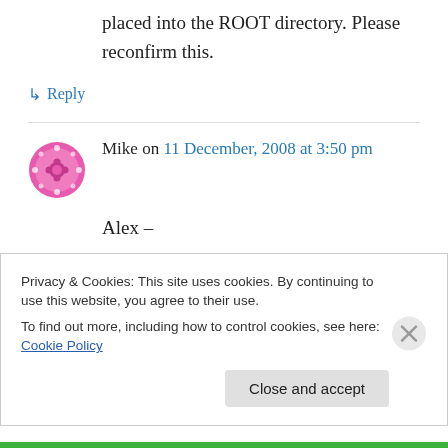placed into the ROOT directory. Please reconfirm this.
↳ Reply
Mike on 11 December, 2008 at 3:50 pm
Alex –
This is an AWESOME plugin! I want to join everyone else in thanking you for some great work!
Privacy & Cookies: This site uses cookies. By continuing to use this website, you agree to their use.
To find out more, including how to control cookies, see here: Cookie Policy
Close and accept